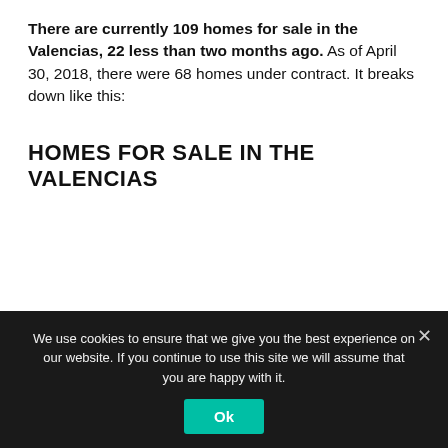There are currently 109 homes for sale in the Valencias, 22 less than two months ago. As of April 30, 2018, there were 68 homes under contract. It breaks down like this:
HOMES FOR SALE IN THE VALENCIAS
[Figure (photo): Outdoor photo showing tree canopy and a partial view of a white structure below, likely a home exterior]
We use cookies to ensure that we give you the best experience on our website. If you continue to use this site we will assume that you are happy with it.